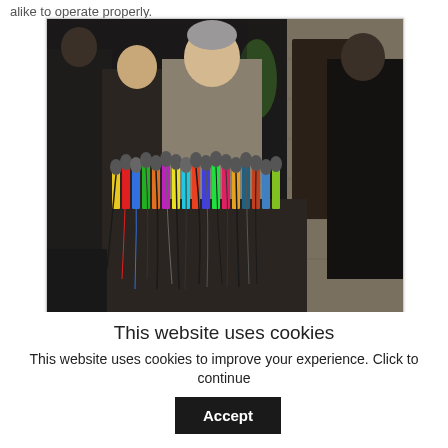alike to operate properly.
[Figure (photo): A press conference scene showing several men standing behind a large cluster of colorful microphones from various news networks. The central figure is an older man in a suit with grey hair. Behind and beside him stand other men. In the background, a person dressed in black stands near a stone wall. The setting appears to be outdoors at night with artificial lighting.]
This website uses cookies
This website uses cookies to improve your experience. Click to continue
Accept